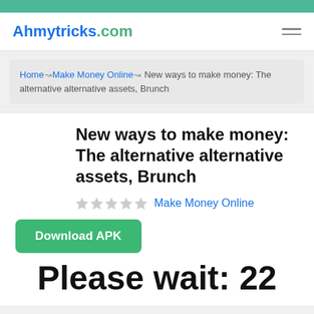Ahmytricks.com
Home ⇝ Make Money Online ⇝ New ways to make money: The alternative alternative assets, Brunch
New ways to make money: The alternative alternative assets, Brunch
★★★★★  Make Money Online
Download APK
Please wait: 22